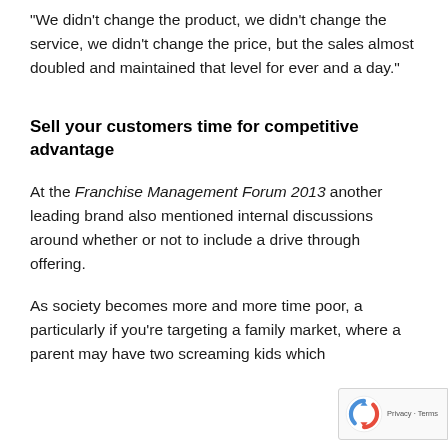“We didn’t change the product, we didn’t change the service, we didn’t change the price, but the sales almost doubled and maintained that level for ever and a day.”
Sell your customers time for competitive advantage
At the Franchise Management Forum 2013 another leading brand also mentioned internal discussions around whether or not to include a drive through offering.
As society becomes more and more time poor, a particularly if you’re targeting a family market, where a parent may have two screaming kids which